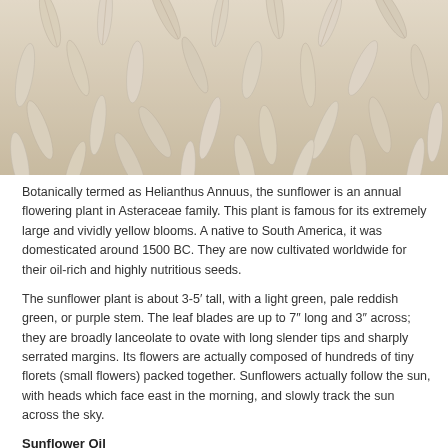[Figure (photo): Close-up photograph of sunflower seeds, white/cream colored, filling the entire frame]
Botanically termed as Helianthus Annuus, the sunflower is an annual flowering plant in Asteraceae family. This plant is famous for its extremely large and vividly yellow blooms. A native to South America, it was domesticated around 1500 BC. They are now cultivated worldwide for their oil-rich and highly nutritious seeds.
The sunflower plant is about 3-5’ tall, with a light green, pale reddish green, or purple stem. The leaf blades are up to 7″ long and 3″ across; they are broadly lanceolate to ovate with long slender tips and sharply serrated margins. Its flowers are actually composed of hundreds of tiny florets (small flowers) packed together. Sunflowers actually follow the sun, with heads which face east in the morning, and slowly track the sun across the sky.
Sunflower Oil
It is the pale yellow mild-flavored oil extracted from the seed of the sunflower plant. This grade of vegetable oil contains higher concentrations of polyunsaturated fat; whereas the quantity of saturated fat is low. It is rich in vitamins A,C, D, and E. The high Vitamin E content makes this oil especially beneficial. It is also rich in lecithin, tocopherols, carotenoids, and wax.